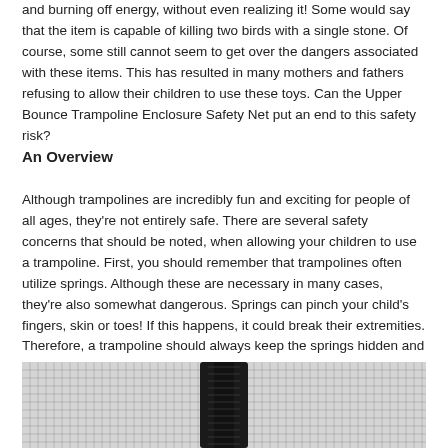and burning off energy, without even realizing it! Some would say that the item is capable of killing two birds with a single stone. Of course, some still cannot seem to get over the dangers associated with these items. This has resulted in many mothers and fathers refusing to allow their children to use these toys. Can the Upper Bounce Trampoline Enclosure Safety Net put an end to this safety risk?
An Overview
Although trampolines are incredibly fun and exciting for people of all ages, they're not entirely safe. There are several safety concerns that should be noted, when allowing your children to use a trampoline. First, you should remember that trampolines often utilize springs. Although these are necessary in many cases, they're also somewhat dangerous. Springs can pinch your child's fingers, skin or toes! If this happens, it could break their extremities. Therefore, a trampoline should always keep the springs hidden and covered.
[Figure (photo): Close-up photo of a trampoline safety net mesh with a black zipper/pole visible in the center]